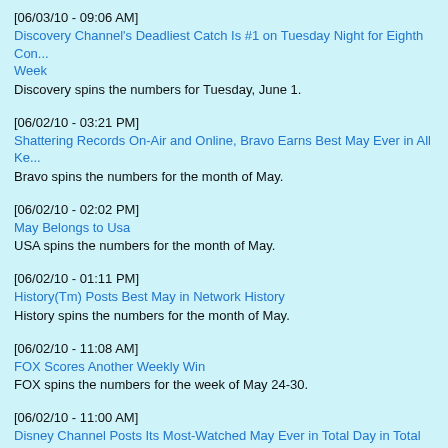[06/03/10 - 09:06 AM]
Discovery Channel's Deadliest Catch Is #1 on Tuesday Night for Eighth Con... Week
Discovery spins the numbers for Tuesday, June 1.
[06/02/10 - 03:21 PM]
Shattering Records On-Air and Online, Bravo Earns Best May Ever in All Ke...
Bravo spins the numbers for the month of May.
[06/02/10 - 02:02 PM]
May Belongs to Usa
USA spins the numbers for the month of May.
[06/02/10 - 01:11 PM]
History(Tm) Posts Best May in Network History
History spins the numbers for the month of May.
[06/02/10 - 11:08 AM]
FOX Scores Another Weekly Win
FOX spins the numbers for the week of May 24-30.
[06/02/10 - 11:00 AM]
Disney Channel Posts Its Most-Watched May Ever in Total Day in Total View... and Tweens 9-14
Disney Channel spins the numbers for the month of May.
[06/02/10 - 10:58 AM]